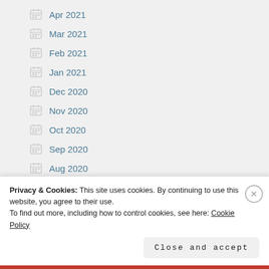Apr 2021
Mar 2021
Feb 2021
Jan 2021
Dec 2020
Nov 2020
Oct 2020
Sep 2020
Aug 2020
Privacy & Cookies: This site uses cookies. By continuing to use this website, you agree to their use.
To find out more, including how to control cookies, see here: Cookie Policy
Close and accept